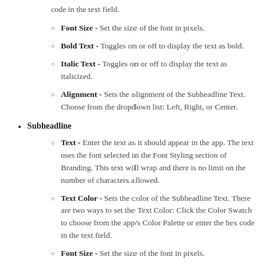code in the text field.
Font Size - Set the size of the font in pixels.
Bold Text - Toggles on or off to display the text as bold.
Italic Text - Toggles on or off to display the text as italicized.
Alignment - Sets the alignment of the Subheadline Text. Choose from the dropdown list: Left, Right, or Center.
Subheadline
Text - Enter the text as it should appear in the app. The text uses the font selected in the Font Styling section of Branding. This text will wrap and there is no limit on the number of characters allowed.
Text Color - Sets the color of the Subheadline Text. There are two ways to set the Text Color: Click the Color Swatch to choose from the app's Color Palette or enter the hex code in the text field.
Font Size - Set the size of the font in pixels.